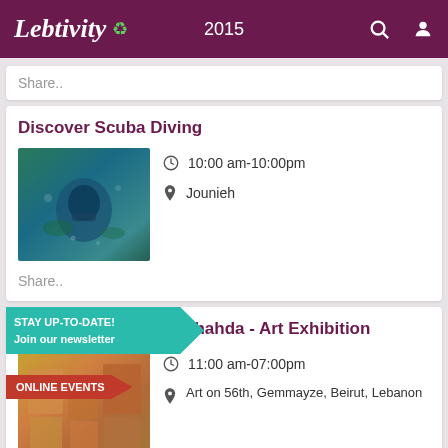Lebtivity 2015
Share..
Discover Scuba Diving
[Figure (photo): Scuba diver underwater among green/blue water and plants]
10:00 am-10:00pm
Jounieh
Share..
STAY UP-TO-DATE! Join our newsletter
ONLINE EVENTS
Tourdo - by Edward Shahda - Art Exhibition
[Figure (photo): Art exhibition image with colorful paintings including yellows and reds]
11:00 am-07:00pm
Art on 56th, Gemmayze, Beirut, Lebanon
Share..